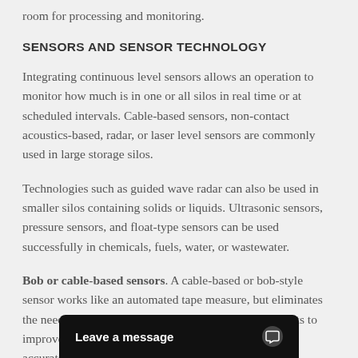room for processing and monitoring.
SENSORS AND SENSOR TECHNOLOGY
Integrating continuous level sensors allows an operation to monitor how much is in one or all silos in real time or at scheduled intervals. Cable-based sensors, non-contact acoustics-based, radar, or laser level sensors are commonly used in large storage silos.
Technologies such as guided wave radar can also be used in smaller silos containing solids or liquids. Ultrasonic sensors, pressure sensors, and float-type sensors can be used successfully in chemicals, fuels, water, or wastewater.
Bob or cable-based sensors. A cable-based or bob-style sensor works like an automated tape measure, but eliminates the need for climbing silos to take manual measurements to improve safety a... they reliably, accurate... pre-